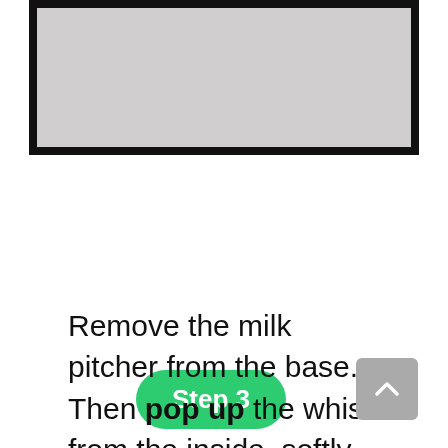[Figure (photo): Partial image of a milk pitcher on a base, shown from above, with a gray/light background.]
Step 3
Remove the milk pitcher from the base. Then pop up the whisk from the inside, softly clean with a non-abrasive sponge and soapy water. You can also dishwasher detergent to wash it. Once